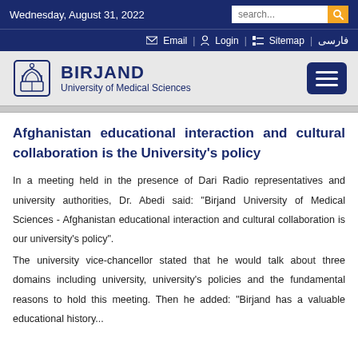Wednesday, August 31, 2022
Email | Login | Sitemap | فارسی
[Figure (logo): Birjand University of Medical Sciences logo with emblem icon, title BIRJAND and subtitle University of Medical Sciences, plus hamburger menu button]
Afghanistan educational interaction and cultural collaboration is the University's policy
In a meeting held in the presence of Dari Radio representatives and university authorities, Dr. Abedi said: "Birjand University of Medical Sciences - Afghanistan educational interaction and cultural collaboration is our university's policy".
The university vice-chancellor stated that he would talk about three domains including university, university's policies and the fundamental reasons to hold this meeting. Then he added: "Birjand has a valuable educational history...